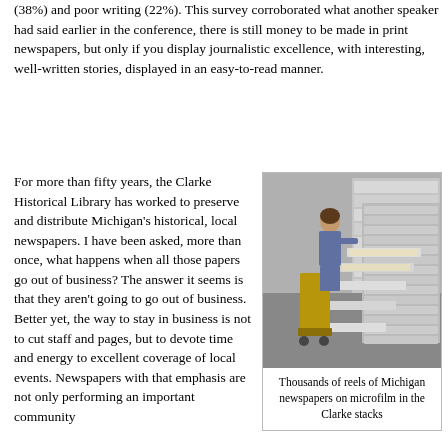(38%) and poor writing (22%). This survey corroborated what another speaker had said earlier in the conference, there is still money to be made in print newspapers, but only if you display journalistic excellence, with interesting, well-written stories, displayed in an easy-to-read manner.
For more than fifty years, the Clarke Historical Library has worked to preserve and distribute Michigan's historical, local newspapers. I have been asked, more than once, what happens when all those papers go out of business? The answer it seems is that they aren't going to go out of business. Better yet, the way to stay in business is not to cut staff and pages, but to devote time and energy to excellent coverage of local events. Newspapers with that emphasis are not only performing an important community
[Figure (photo): A person standing in front of large stacks of microfilm drawers in a library archive, pulling out one of the many flat drawers. The room contains rows of metal filing cabinets filled with microfilm reels.]
Thousands of reels of Michigan newspapers on microfilm in the Clarke stacks